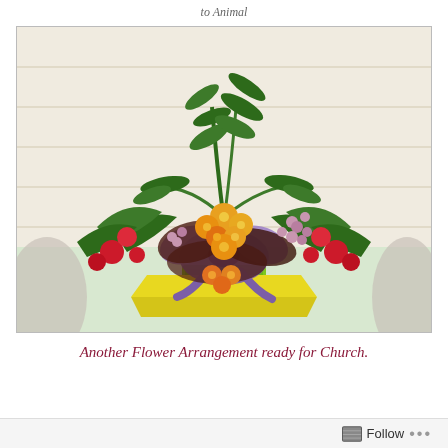to Animal
[Figure (photo): A flower arrangement in a bright green container with yellow/orange flowers, red flowers, greenery, and a purple ribbon bow, set against a white wicker background.]
Another Flower Arrangement ready for Church.
Follow ...